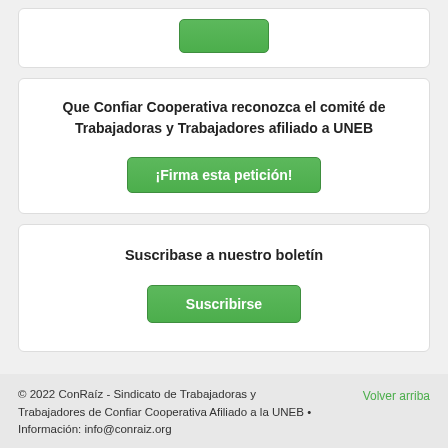[Figure (other): Partial green button at top of page]
Que Confiar Cooperativa reconozca el comité de Trabajadoras y Trabajadores afiliado a UNEB
¡Firma esta petición!
Suscribase a nuestro boletín
Suscribirse
© 2022 ConRaíz - Sindicato de Trabajadoras y Trabajadores de Confiar Cooperativa Afiliado a la UNEB • Información: info@conraiz.org
Volver arriba